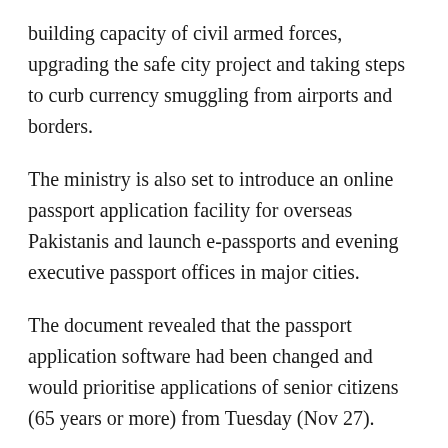building capacity of civil armed forces, upgrading the safe city project and taking steps to curb currency smuggling from airports and borders.
The ministry is also set to introduce an online passport application facility for overseas Pakistanis and launch e-passports and evening executive passport offices in major cities.
The document revealed that the passport application software had been changed and would prioritise applications of senior citizens (65 years or more) from Tuesday (Nov 27).
It said that prisoner exchange treaties with the United Kingdom, Saudi Arabia and China were also on the cards. The document mentioned banning 18 international non-governmental organisations — under the initiative of online registration system introduced by the previous government.